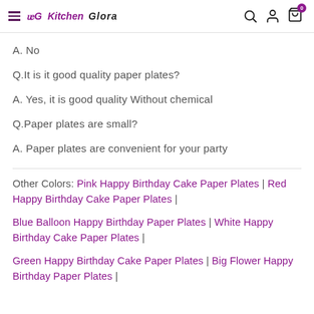Kitchen Glora — Navigation header with logo and icons
A. No
Q.It is it good quality paper plates?
A. Yes, it is good quality Without chemical
Q.Paper plates are small?
A. Paper plates are convenient for your party
Other Colors: Pink Happy Birthday Cake Paper Plates | Red Happy Birthday Cake Paper Plates | Blue Balloon Happy Birthday Paper Plates | White Happy Birthday Cake Paper Plates | Green Happy Birthday Cake Paper Plates | Big Flower Happy Birthday Paper Plates |